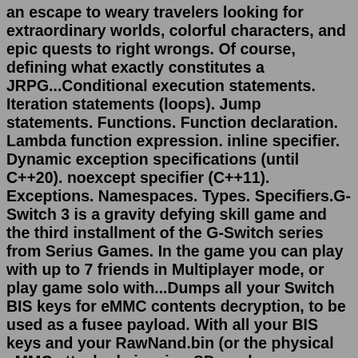an escape to weary travelers looking for extraordinary worlds, colorful characters, and epic quests to right wrongs. Of course, defining what exactly constitutes a JRPG...Conditional execution statements. Iteration statements (loops). Jump statements. Functions. Function declaration. Lambda function expression. inline specifier. Dynamic exception specifications (until C++20). noexcept specifier (C++11). Exceptions. Namespaces. Types. Specifiers.G-Switch 3 is a gravity defying skill game and the third installment of the G-Switch series from Serius Games. In the game you can play with up to 7 friends in Multiplayer mode, or play game solo with...Dumps all your Switch BIS keys for eMMC contents decryption, to be used as a fusee payload. With all your BIS keys and your RawNand.bin (or the physical eMMC attached via microSD reader or using...With so many JRPGs available on Switch, however, you might be wondering which ones are truly worth your time. We've assembled a list of the best JRPGs on Switch for your perusal. Jul 14, 2020 ...